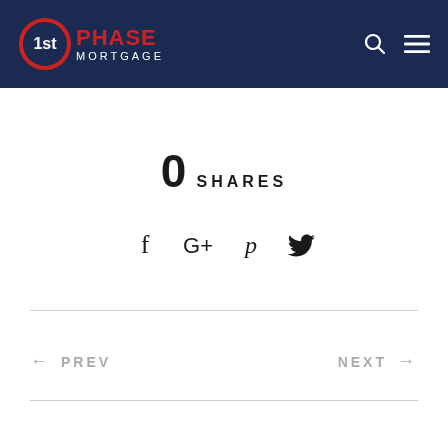[Figure (logo): 1st Phase Mortgage logo with red circular emblem and text on dark navy header background]
0 SHARES
[Figure (infographic): Social share icons: Facebook (f), Google+, Pinterest (p), Twitter bird]
← PREV
NEXT →